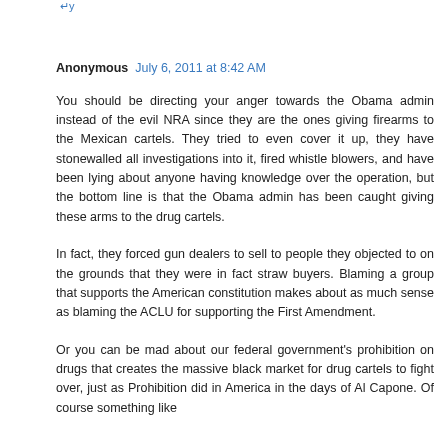Reply
Anonymous  July 6, 2011 at 8:42 AM
You should be directing your anger towards the Obama admin instead of the evil NRA since they are the ones giving firearms to the Mexican cartels. They tried to even cover it up, they have stonewalled all investigations into it, fired whistle blowers, and have been lying about anyone having knowledge over the operation, but the bottom line is that the Obama admin has been caught giving these arms to the drug cartels.
In fact, they forced gun dealers to sell to people they objected to on the grounds that they were in fact straw buyers. Blaming a group that supports the American constitution makes about as much sense as blaming the ACLU for supporting the First Amendment.
Or you can be mad about our federal government's prohibition on drugs that creates the massive black market for drug cartels to fight over, just as Prohibition did in America in the days of Al Capone. Of course something like